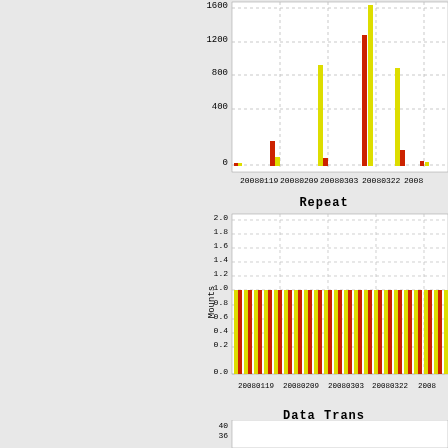[Figure (bar-chart): Repeat Mounts]
[Figure (bar-chart): Data Trans]